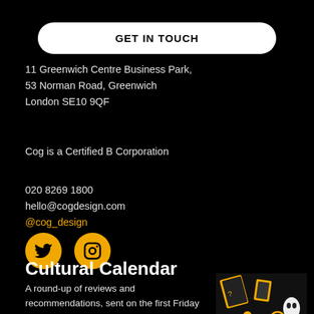GET IN TOUCH
11 Greenwich Centre Business Park,
53 Norman Road, Greenwich
London SE10 9QF
Cog is a Certified B Corporation
020 8269 1800
hello@cogdesign.com
@cog_design
[Figure (other): Twitter and Instagram social media icon circles in yellow/gold color]
Cultural Calendar
A round-up of reviews and recommendations, sent on the first Friday of each month. Topped-off with a commissioned image from an emerging
[Figure (illustration): Illustrated decorative image with yellow and black graphic elements including cards, gears and shapes]